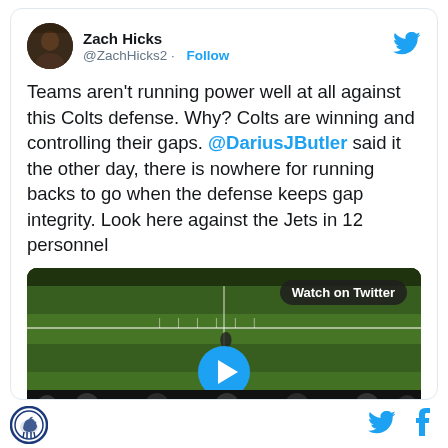[Figure (screenshot): Twitter/X profile avatar for Zach Hicks — dark toned photo]
Zach Hicks
@ZachHicks2 · Follow
[Figure (logo): Twitter bird logo (blue) top right of tweet card]
Teams aren't running power well at all against this Colts defense. Why? Colts are winning and controlling their gaps. @DariusJButler said it the other day, there is nowhere for running backs to go when the defense keeps gap integrity. Look here against the Jets in 12 personnel
[Figure (screenshot): Video thumbnail showing football field from above with players at line of scrimmage; 'Watch on Twitter' badge and blue play button overlay]
[Figure (logo): Site logo bottom left — circular blue border with horse/mustang icon]
[Figure (logo): Twitter bird icon bottom right]
[Figure (logo): Facebook f icon bottom right]